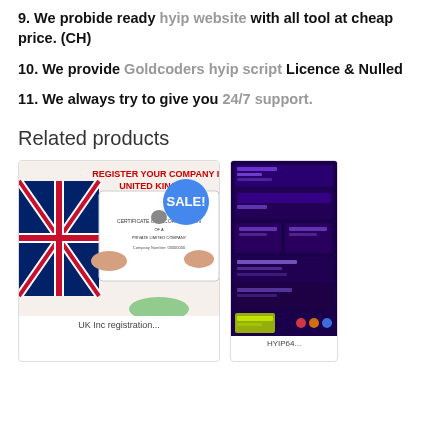9. We probide ready hyip website with all tool at cheap price. (CH)
10. We provide Goldcoders hyip script Licence & Nulled
11. We always try to give you 24/7 support.
Related products
[Figure (photo): Product card: Register Your Company in United Kingdom with SALE badge]
[Figure (screenshot): Product card: Dark purple HYIP website screenshot]